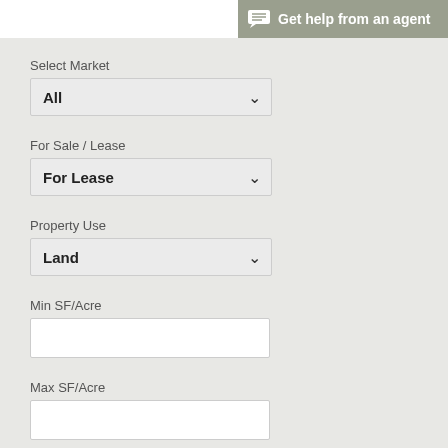Get help from an agent
Select Market
All
For Sale / Lease
For Lease
Property Use
Land
Min SF/Acre
Max SF/Acre